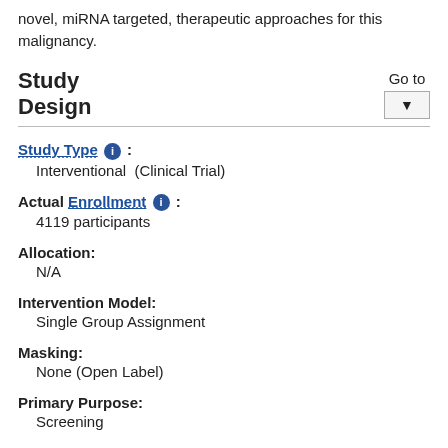novel, miRNA targeted, therapeutic approaches for this malignancy.
Study Design
Go to
Study Type : Interventional (Clinical Trial)
Actual Enrollment : 4119 participants
Allocation: N/A
Intervention Model: Single Group Assignment
Masking: None (Open Label)
Primary Purpose: Screening